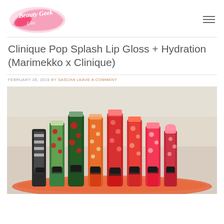Beauty Geek Like (logo) | navigation hamburger menu
Clinique Pop Splash Lip Gloss + Hydration (Marimekko x Clinique)
FEBRUARY 28, 2018 BY SASCHA LEAVE A COMMENT
[Figure (photo): A collection of Marimekko x Clinique Pop Splash Lip Gloss tubes and lip products arranged on a round orange tray, showing various patterned packaging in black/white, green/red floral, orange, red patterns with clear glossy tubes.]